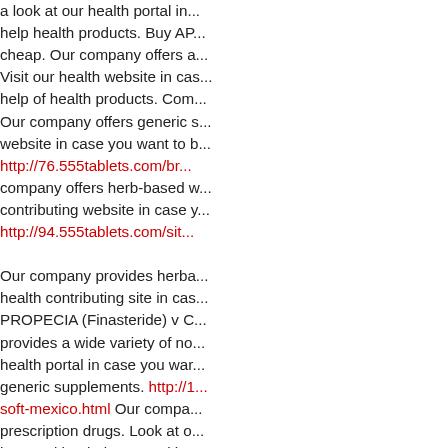a look at our health portal in... help health products. Buy AP... cheap. Our company offers a... Visit our health website in cas... help of health products. Com... Our company offers generic s... website in case you want to b... http://76.555tablets.com/br... company offers herb-based w... contributing website in case y... http://94.555tablets.com/sit...
Our company provides herba... health contributing site in cas... PROPECIA (Finasteride) v C... provides a wide variety of no... health portal in case you war... generic supplements. http://1... soft-mexico.html Our compa... prescription drugs. Look at o... better with a help general hea... http://45.555tablets.com/sit...
Our company provides herb...